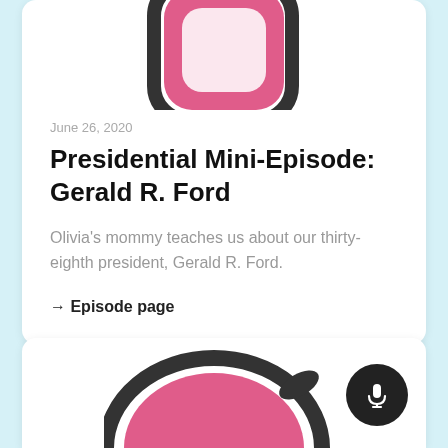[Figure (logo): Pink and dark gray podcast logo icon (headphones/microphone style) partially visible at top of card]
June 26, 2020
Presidential Mini-Episode: Gerald R. Ford
Olivia's mommy teaches us about our thirty-eighth president, Gerald R. Ford.
→ Episode page
[Figure (logo): Pink and dark gray podcast logo icon partially visible at bottom of page, with microphone button overlay in dark circle]